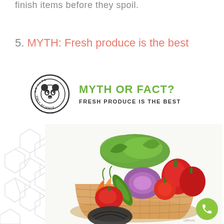finish items before they spoil.
5. MYTH: Fresh produce is the best
[Figure (infographic): Myth or Fact? infographic panel with circular logo featuring a panda face and text 'NO FADS ONLY SCIENCE', followed by 'MYTH OR FACT?' in green and 'FRESH PRODUCE IS THE BEST' in dark text]
[Figure (photo): Photo of a wicker basket filled with fresh colorful vegetables including red bell peppers, tomatoes, zucchini, purple onion, green leafy vegetables, pumpkin, and other produce, with geometric hexagonal pattern overlay on the left and a green phone button in the bottom right corner]